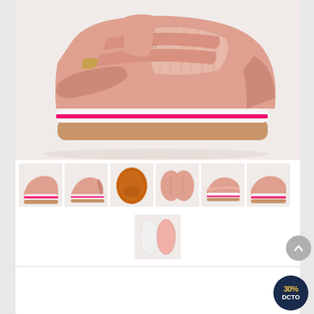[Figure (photo): Main product photo of pink/peach girls sneaker with velcro straps, platform sole with white and pink stripe, gold accent, on light gray background]
[Figure (photo): Thumbnail 1: side view of pink sneaker on white background]
[Figure (photo): Thumbnail 2: back view of pink sneaker]
[Figure (photo): Thumbnail 3: bottom/sole view of sneaker showing orange/brown outsole]
[Figure (photo): Thumbnail 4: top view of two pink sneakers]
[Figure (photo): Thumbnail 5: side detail view with pink accent stripe visible]
[Figure (photo): Thumbnail 6: side view showing platform sole and pink stripe]
[Figure (photo): Thumbnail 7: insole view showing white and pink insoles]
30% DCTO